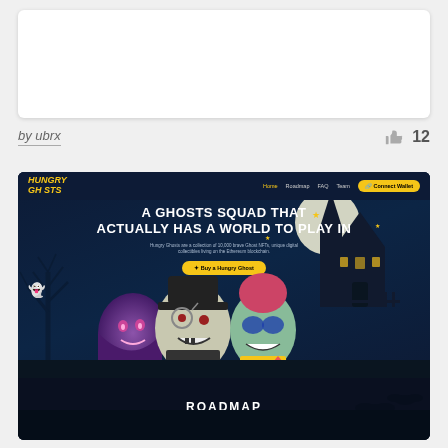[Figure (screenshot): Top white card area — partial screenshot of a website, blank white region]
by ubrx
12
[Figure (screenshot): Screenshot of the Hungry Ghosts NFT website. Hero section shows dark navy background with three ghost characters, a haunted house silhouette, full moon, bare trees, and bats. Large white bold text reads 'A GHOSTS SQUAD THAT ACTUALLY HAS A WORLD TO PLAY IN'. Below is a yellow 'Buy a Hungry Ghost' button. Navigation bar shows 'HUNGRY GHOSTS' logo in yellow. Lower section shows 'ROADMAP' heading with subtitle 'Hungry Ghosts are more than just an awesome generative NFT project' and a yellow ghost character.]